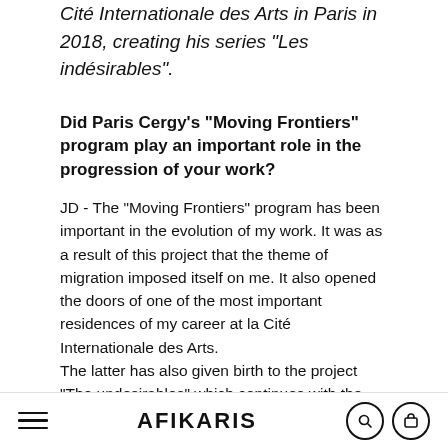Cité Internationale des Arts in Paris in 2018, creating his series "Les indésirables".
Did Paris Cergy's "Moving Frontiers" program play an important role in the progression of your work?
JD - The "Moving Frontiers" program has been important in the evolution of my work. It was as a result of this project that the theme of migration imposed itself on me. It also opened the doors of one of the most important residences of my career at la Cité Internationale des Arts.
The latter has also given birth to the project "The undesirables" which continues with the new series
AFIKARIS